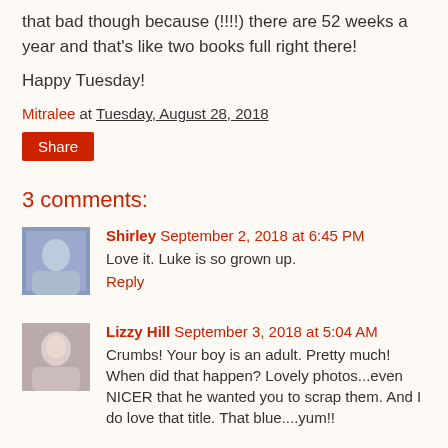that bad though because (!!!!) there are 52 weeks a year and that's like two books full right there!
Happy Tuesday!
Mitralee at Tuesday, August 28, 2018
Share
3 comments:
Shirley September 2, 2018 at 6:45 PM
Love it. Luke is so grown up.
Reply
Lizzy Hill September 3, 2018 at 5:04 AM
Crumbs! Your boy is an adult. Pretty much! When did that happen? Lovely photos...even NICER that he wanted you to scrap them. And I do love that title. That blue....yum!!